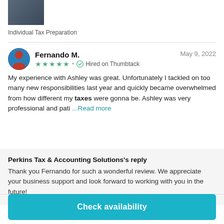[Figure (photo): Small profile photo of a person]
Individual Tax Preparation
Fernando M.  May 9, 2022  ★★★★★ • Hired on Thumbtack
My experience with Ashley was great. Unfortunately I tackled on too many new responsibilities last year and quickly became overwhelmed from how different my taxes were gonna be. Ashley was very professional and pati ...Read more
Perkins Tax & Accounting Solutions's reply
Thank you Fernando for such a wonderful review. We appreciate your business support and look forward to working with you in the future!
Check availability